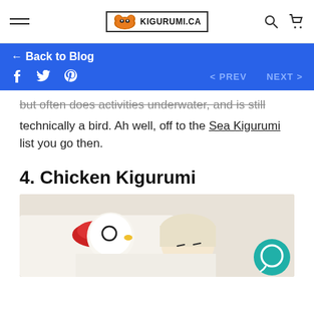KIGURUMI.CA navigation header with hamburger menu, logo, search and cart icons
← Back to Blog
< PREV   NEXT >  (with Facebook, Twitter, Pinterest social icons)
but often does activities underwater, and is still technically a bird. Ah well, off to the Sea Kigurumi list you go then.
4. Chicken Kigurumi
[Figure (illustration): Anime girl wearing a chicken kigurumi costume, lying down, with a teal circular chat icon in the bottom right corner]